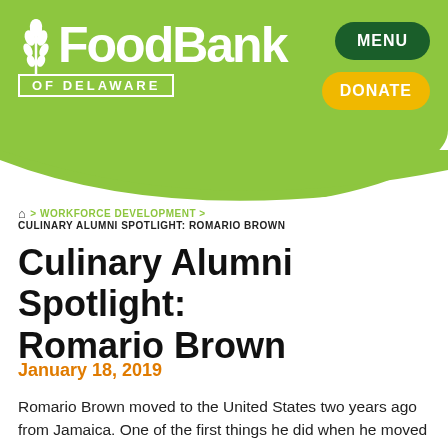[Figure (logo): Food Bank of Delaware logo with wheat stalk icon, white text on green background]
MENU
DONATE
🏠 > WORKFORCE DEVELOPMENT > CULINARY ALUMNI SPOTLIGHT: ROMARIO BROWN
Culinary Alumni Spotlight: Romario Brown
January 18, 2019
Romario Brown moved to the United States two years ago from Jamaica. One of the first things he did when he moved was enroll in The Culinary